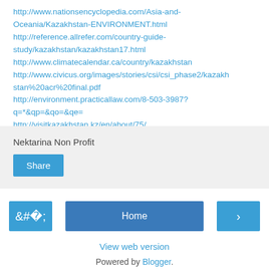http://www.nationsencyclopedia.com/Asia-and-Oceania/Kazakhstan-ENVIRONMENT.html
http://reference.allrefer.com/country-guide-study/kazakhstan/kazakhstan17.html
http://www.climatecalendar.ca/country/kazakhstan
http://www.civicus.org/images/stories/csi/csi_phase2/kazakhstan%20acr%20final.pdf
http://environment.practicallaw.com/8-503-3987?q=*&qp=&qo=&qe=
http://visitkazakhstan.kz/en/about/75/
Nektarina Non Profit
Share
Home
View web version
Powered by Blogger.